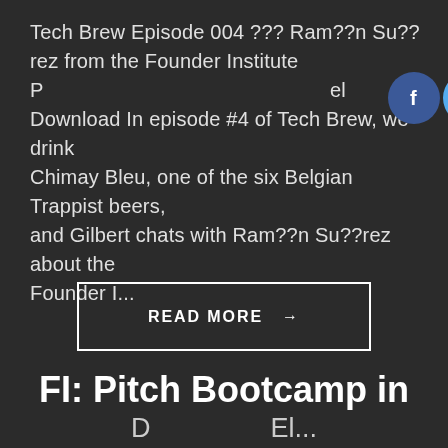Tech Brew Episode 004 ??? Ram??n Su??rez from the Founder Institute P... Download In episode #4 of Tech Brew, we drink Chimay Bleu, one of the six Belgian Trappist beers, and Gilbert chats with Ram??n Su??rez about the Founder I...
[Figure (infographic): Social media share icons: Facebook (blue), Twitter (light blue), YouTube (red), Pinterest (dark red), LinkedIn (blue) — circular icons overlapping the text]
READ MORE →
FI: Pitch Bootcamp in